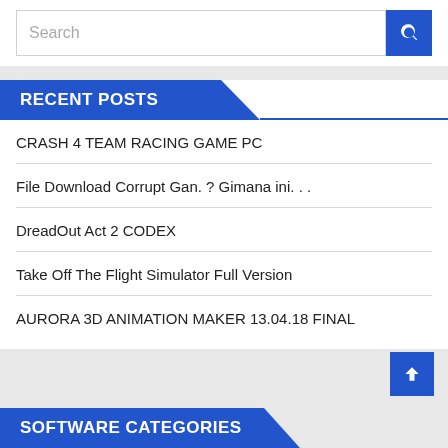Search
RECENT POSTS
CRASH 4 TEAM RACING GAME PC
File Download Corrupt Gan. ? Gimana ini. . .
DreadOut Act 2 CODEX
Take Off The Flight Simulator Full Version
AURORA 3D ANIMATION MAKER 13.04.18 FINAL
SOFTWARE CATEGORIES